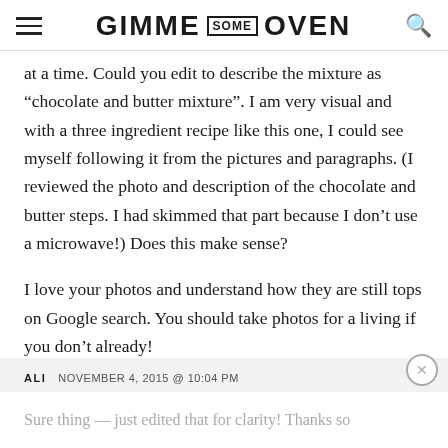GIMME SOME OVEN
at a time. Could you edit to describe the mixture as “chocolate and butter mixture”. I am very visual and with a three ingredient recipe like this one, I could see myself following it from the pictures and paragraphs. (I reviewed the photo and description of the chocolate and butter steps. I had skimmed that part because I don’t use a microwave!) Does this make sense?
I love your photos and understand how they are still tops on Google search. You should take photos for a living if you don’t already!
ALI   NOVEMBER 4, 2015 @ 10:04 PM
Sure thing — just edited that for clarity! Thanks so